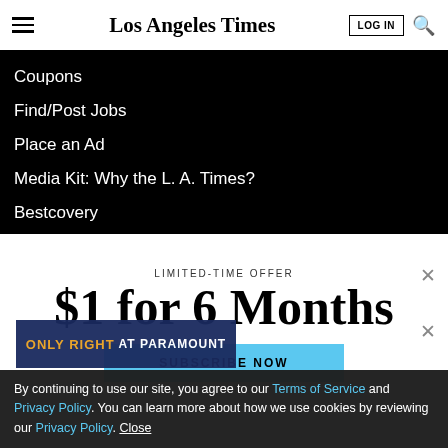Los Angeles Times
Coupons
Find/Post Jobs
Place an Ad
Media Kit: Why the L. A. Times?
Bestcovery
LIMITED-TIME OFFER
$1 for 6 Months
SUBSCRIBE NOW
By continuing to use our site, you agree to our Terms of Service and Privacy Policy. You can learn more about how we use cookies by reviewing our Privacy Policy. Close